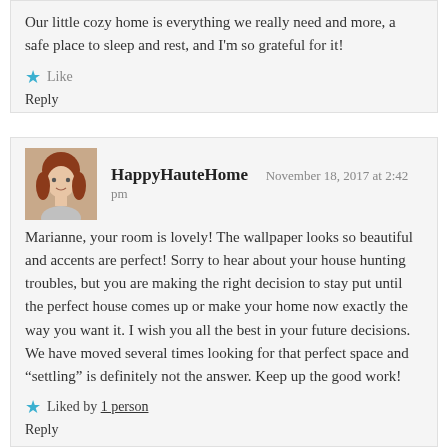Our little cozy home is everything we really need and more, a safe place to sleep and rest, and I'm so grateful for it!
Like
Reply
HappyHauteHome   November 18, 2017 at 2:42 pm
Marianne, your room is lovely! The wallpaper looks so beautiful and accents are perfect! Sorry to hear about your house hunting troubles, but you are making the right decision to stay put until the perfect house comes up or make your home now exactly the way you want it. I wish you all the best in your future decisions. We have moved several times looking for that perfect space and “settling” is definitely not the answer. Keep up the good work!
Liked by 1 person
Reply
Marianne   November 18, 2017 at 5:35